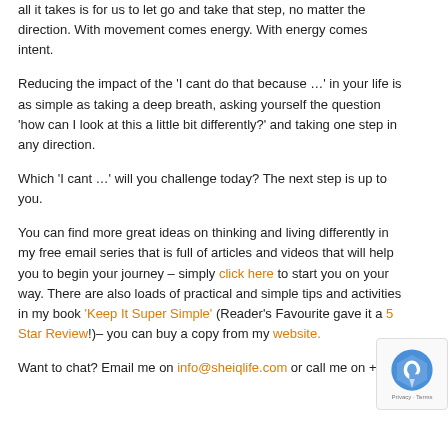all it takes is for us to let go and take that step, no matter the direction. With movement comes energy. With energy comes intent.
Reducing the impact of the 'I cant do that because ...' in your life is as simple as taking a deep breath, asking yourself the question 'how can I look at this a little bit differently?' and taking one step in any direction.
Which 'I cant ...' will you challenge today? The next step is up to you.
You can find more great ideas on thinking and living differently in my free email series that is full of articles and videos that will help you to begin your journey – simply click here to start you on your way. There are also loads of practical and simple tips and activities in my book 'Keep It Super Simple' (Reader's Favourite gave it a 5 Star Review!)– you can buy a copy from my website.
Want to chat? Email me on info@sheiqlife.com or call me on +01